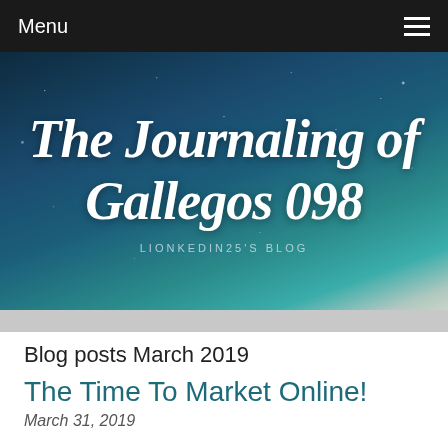Menu
[Figure (illustration): Blog header banner with starry night sky background showing 'The Journaling of Gallegos 098' in large cursive white text, with 'LIONKEDIN25'S BLOG' subtitle below in spaced capitals]
Blog posts March 2019
The Time To Market Online!
March 31, 2019